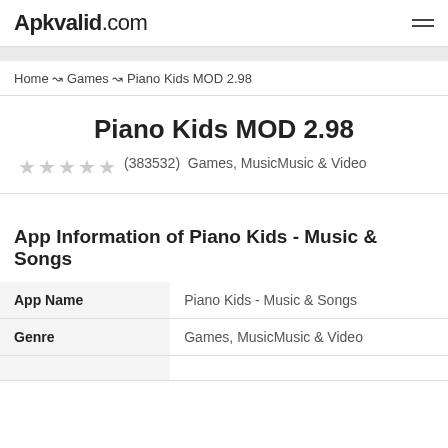Apkvalid.com
Home → Games → Piano Kids MOD 2.98
Piano Kids MOD 2.98
(383532)  Games, MusicMusic & Video
App Information of Piano Kids - Music & Songs
| App Name | Piano Kids - Music & Songs |
| --- | --- |
| Genre | Games, MusicMusic & Video |